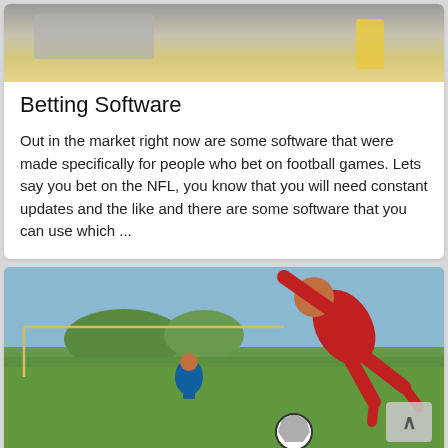[Figure (photo): Top portion of a card with a blurred laptop and drink/juice glass image]
Betting Software
Out in the market right now are some software that were made specifically for people who bet on football games. Lets say you bet on the NFL, you know that you will need constant updates and the like and there are some software that you can use which ...
[Figure (photo): Soccer player in red uniform performing a header or acrobatic kick near a goal, with another player in blue in the background on a grassy field]